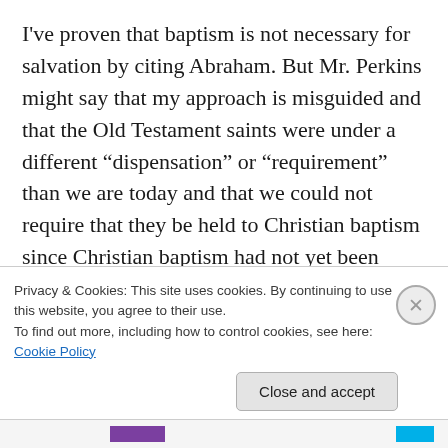I've proven that baptism is not necessary for salvation by citing Abraham. But Mr. Perkins might say that my approach is misguided and that the Old Testament saints were under a different “dispensation” or “requirement” than we are today and that we could not require that they be held to Christian baptism since Christian baptism had not yet been instituted. If that is so, then water baptism is not necessary for salvation. It is simple logic.
Nevertheless, for the sake of continuing our debate, let’s limit our discussion to whether or not water baptism is
Privacy & Cookies: This site uses cookies. By continuing to use this website, you agree to their use.
To find out more, including how to control cookies, see here: Cookie Policy